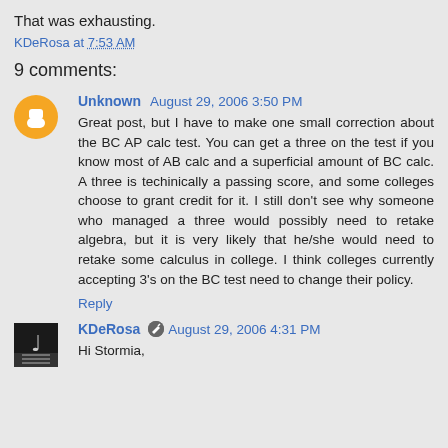That was exhausting.
KDeRosa at 7:53 AM
9 comments:
Unknown August 29, 2006 3:50 PM
Great post, but I have to make one small correction about the BC AP calc test. You can get a three on the test if you know most of AB calc and a superficial amount of BC calc. A three is techinically a passing score, and some colleges choose to grant credit for it. I still don't see why someone who managed a three would possibly need to retake algebra, but it is very likely that he/she would need to retake some calculus in college. I think colleges currently accepting 3's on the BC test need to change their policy.
Reply
KDeRosa August 29, 2006 4:31 PM
Hi Stormia,